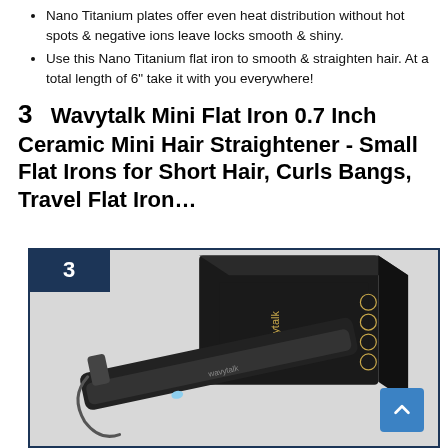Nano Titanium plates offer even heat distribution without hot spots & negative ions leave locks smooth & shiny.
Use this Nano Titanium flat iron to smooth & straighten hair. At a total length of 6" take it with you everywhere!
3   Wavytalk Mini Flat Iron 0.7 Inch Ceramic Mini Hair Straightener - Small Flat Irons for Short Hair, Curls Bangs, Travel Flat Iron…
[Figure (photo): Product image of Wavytalk mini flat iron hair straightener with black box packaging. The device is black and small with 'wavytalk' branding. A blue numbered badge showing '3' is in the top-left corner of the bordered product box. A blue scroll-to-top button is in the bottom-right corner.]